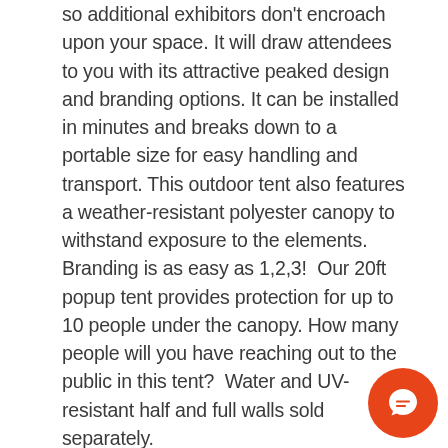so additional exhibitors don't encroach upon your space. It will draw attendees to you with its attractive peaked design and branding options. It can be installed in minutes and breaks down to a portable size for easy handling and transport. This outdoor tent also features a weather-resistant polyester canopy to withstand exposure to the elements. Branding is as easy as 1,2,3!  Our 20ft popup tent provides protection for up to 10 people under the canopy. How many people will you have reaching out to the public in this tent?  Water and UV-resistant half and full walls sold separately.
[Figure (other): Orange circular chat button icon in the bottom-right corner of the page]